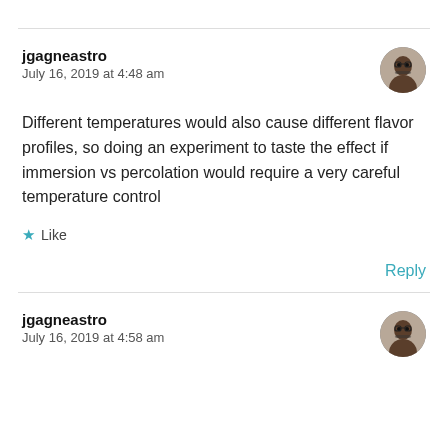jgagneastro
July 16, 2019 at 4:48 am
Different temperatures would also cause different flavor profiles, so doing an experiment to taste the effect if immersion vs percolation would require a very careful temperature control
★ Like
Reply
jgagneastro
July 16, 2019 at 4:58 am